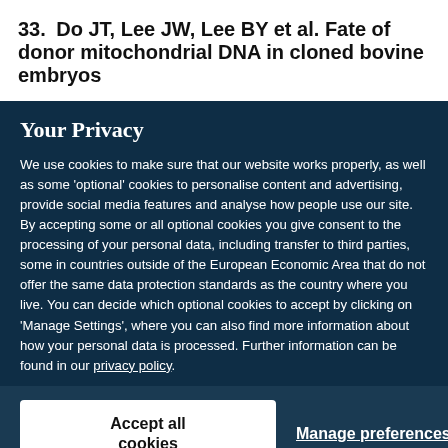33. Do JT, Lee JW, Lee BY et al. Fate of donor mitochondrial DNA in cloned bovine embryos
Your Privacy
We use cookies to make sure that our website works properly, as well as some 'optional' cookies to personalise content and advertising, provide social media features and analyse how people use our site. By accepting some or all optional cookies you give consent to the processing of your personal data, including transfer to third parties, some in countries outside of the European Economic Area that do not offer the same data protection standards as the country where you live. You can decide which optional cookies to accept by clicking on 'Manage Settings', where you can also find more information about how your personal data is processed. Further information can be found in our privacy policy.
Accept all cookies
Manage preferences